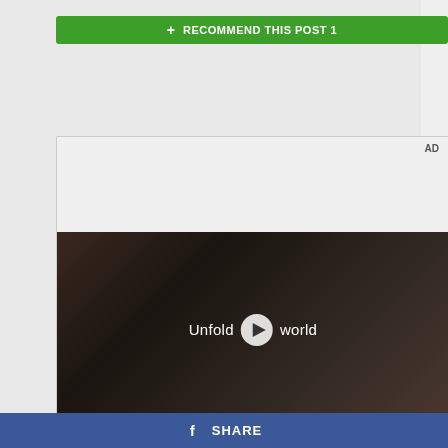[Figure (screenshot): Green recommend button with plus icon and text RECOMMEND THIS POST 1]
[Figure (screenshot): Samsung advertisement with AD label, video thumbnail showing woman holding Samsung foldable phone in car with text Unfold your world and play button, Samsung logo below]
[Figure (screenshot): Facebook share bar button at the bottom with SHARE text]